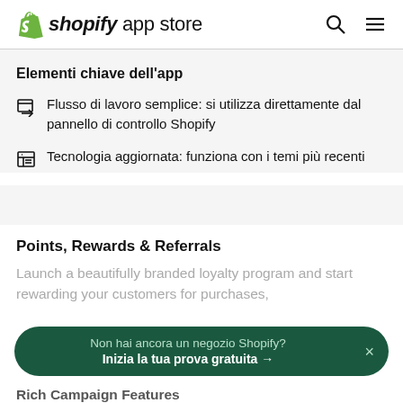shopify app store
Elementi chiave dell'app
Flusso di lavoro semplice: si utilizza direttamente dal pannello di controllo Shopify
Tecnologia aggiornata: funziona con i temi più recenti
Points, Rewards & Referrals
Launch a beautifully branded loyalty program and start rewarding your customers for purchases,
Non hai ancora un negozio Shopify?
Inizia la tua prova gratuita →
Rich Campaign Features